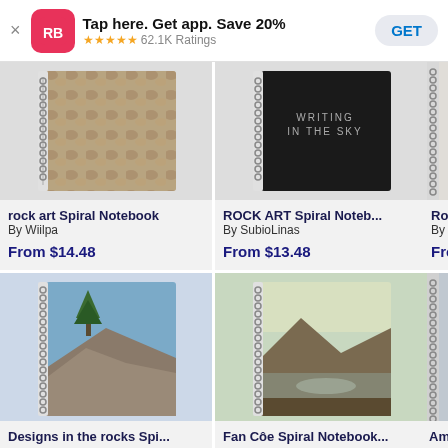[Figure (screenshot): App banner: RB logo, 'Tap here. Get app. Save 20%', 5 stars, 62.1K Ratings, GET button]
[Figure (photo): rock art spiral notebook product image - stone texture photo]
rock art Spiral Notebook
By Wiilpa
From $14.48
[Figure (photo): ROCK ART Spiral Notebook product image - black cover with white text]
ROCK ART Spiral Noteb...
By SubioLinas
From $13.48
[Figure (photo): Partial third notebook card]
Rock A...
By Wol...
From...
[Figure (photo): Designs in the rocks spiral notebook - granite rock with pine tree]
Designs in the rocks Spi...
[Figure (photo): Fan Coe Spiral Notebook - mountain lake reflection]
Fan Côe Spiral Notebook
[Figure (photo): Partial third bottom notebook]